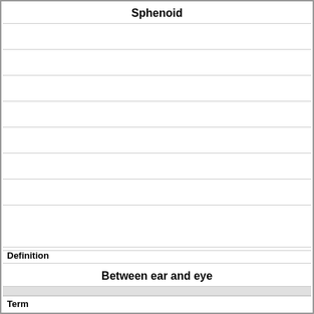Sphenoid
Definition
Between ear and eye
Term